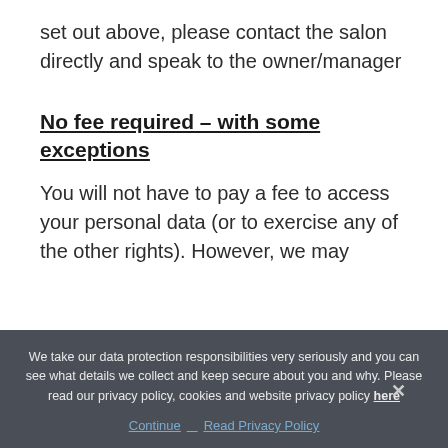set out above, please contact the salon directly and speak to the owner/manager
No fee required – with some exceptions
You will not have to pay a fee to access your personal data (or to exercise any of the other rights). However, we may
We take our data protection responsibilities very seriously and you can see what details we collect and keep secure about you and why. Please read our privacy policy, cookies and website privacy policy here
Continue   Read Privacy Policy